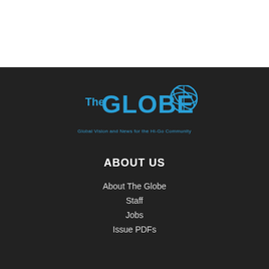[Figure (logo): The Globe logo with blue typography and globe icon, tagline: Global Vision and News for the Hi-Go Community]
ABOUT US
About The Globe
Staff
Jobs
Issue PDFs